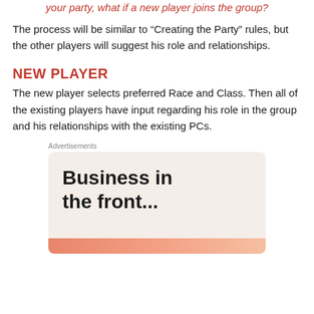your party, what if a new player joins the group?
The process will be similar to “Creating the Party” rules, but the other players will suggest his role and relationships.
NEW PLAYER
The new player selects preferred Race and Class. Then all of the existing players have input regarding his role in the group and his relationships with the existing PCs.
Advertisements
[Figure (other): Advertisement banner with text 'Business in the front...' on a light pink/beige background with an orange/peach gradient bar at the bottom.]